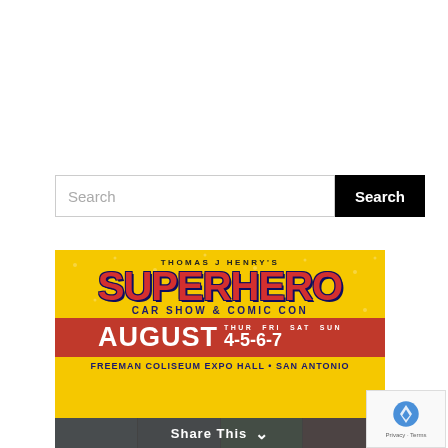[Figure (other): Search bar with text input labeled 'Search' and a black 'Search' button]
[Figure (infographic): Thomas J Henry's Superhero Car Show & Comic Con event poster. Yellow background with red superhero logo text. AUGUST THUR FRI SAT SUN 4-5-6-7. Freeman Coliseum Expo Hall • San Antonio]
[Figure (photo): Bottom strip showing partial photos of event guests/celebrities]
Share This